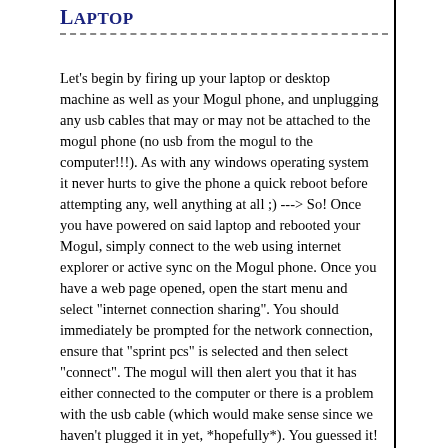Laptop
Let's begin by firing up your laptop or desktop machine as well as your Mogul phone, and unplugging any usb cables that may or may not be attached to the mogul phone (no usb from the mogul to the computer!!!). As with any windows operating system it never hurts to give the phone a quick reboot before attempting any, well anything at all ;) ---> So! Once you have powered on said laptop and rebooted your Mogul, simply connect to the web using internet explorer or active sync on the Mogul phone. Once you have a web page opened, open the start menu and select "internet connection sharing". You should immediately be prompted for the network connection, ensure that "sprint pcs" is selected and then select "connect". The mogul will then alert you that it has either connected to the computer or there is a problem with the usb cable (which would make sense since we haven't plugged it in yet, *hopefully*). You guessed it! Go ahead and plug in that usb cable from the computer to the mogul. Windows should immediately detect the new